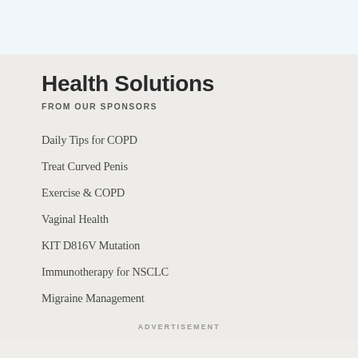Health Solutions
FROM OUR SPONSORS
Daily Tips for COPD
Treat Curved Penis
Exercise & COPD
Vaginal Health
KIT D816V Mutation
Immunotherapy for NSCLC
Migraine Management
ADVERTISEMENT